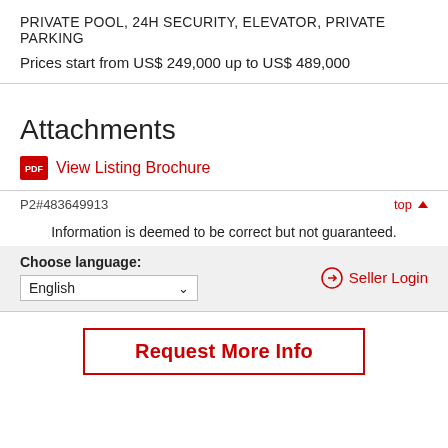PRIVATE POOL, 24H SECURITY, ELEVATOR, PRIVATE PARKING
Prices start from US$ 249,000 up to US$ 489,000
Attachments
View Listing Brochure
P2#483649913
top
Information is deemed to be correct but not guaranteed.
Choose language:
English
Seller Login
Request More Info